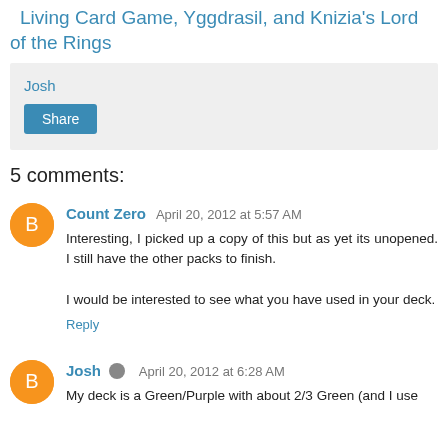Living Card Game, Yggdrasil, and Knizia's Lord of the Rings
Josh
Share
5 comments:
Count Zero  April 20, 2012 at 5:57 AM
Interesting, I picked up a copy of this but as yet its unopened. I still have the other packs to finish.

I would be interested to see what you have used in your deck.
Reply
Josh  April 20, 2012 at 6:28 AM
My deck is a Green/Purple with about 2/3 Green (and I use